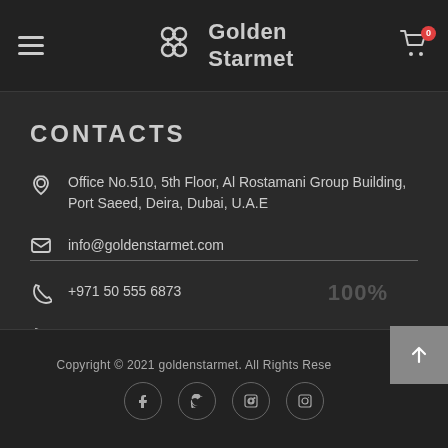Golden Starmet
CONTACTS
Office No.510, 5th Floor, Al Rostamani Group Building, Port Saeed, Deira, Dubai, U.A.E
info@goldenstarmet.com
+971 50 555 6873
+971 44 56 9366
Copyright © 2021 goldenstarmet. All Rights Reserved.